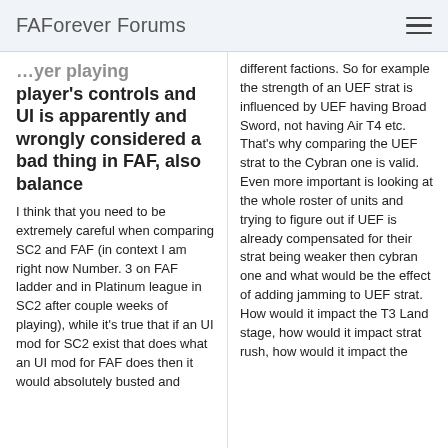FAForever Forums
player's controls and UI is apparently and wrongly considered a bad thing in FAF, also balance
I think that you need to be extremely careful when comparing SC2 and FAF (in context I am right now Number. 3 on FAF ladder and in Platinum league in SC2 after couple weeks of playing), while it's true that if an UI mod for SC2 exist that does what an UI mod for FAF does then it would absolutely busted and
different factions. So for example the strength of an UEF strat is influenced by UEF having Broad Sword, not having Air T4 etc. That's why comparing the UEF strat to the Cybran one is valid. Even more important is looking at the whole roster of units and trying to figure out if UEF is already compensated for their strat being weaker then cybran one and what would be the effect of adding jamming to UEF strat. How would it impact the T3 Land stage, how would it impact strat rush, how would it impact the